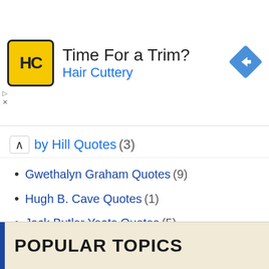[Figure (other): Advertisement banner for Hair Cuttery with logo, text 'Time For a Trim? Hair Cuttery', and navigation arrow icon]
by Hill Quotes (3)
Gwethalyn Graham Quotes (9)
Hugh B. Cave Quotes (1)
Jack Butler Yeats Quotes (5)
Nicole Nordeman Quotes (1)
Robert Burton Robinson Quotes (1)
Theresa Troutman Quotes (1)
POPULAR TOPICS